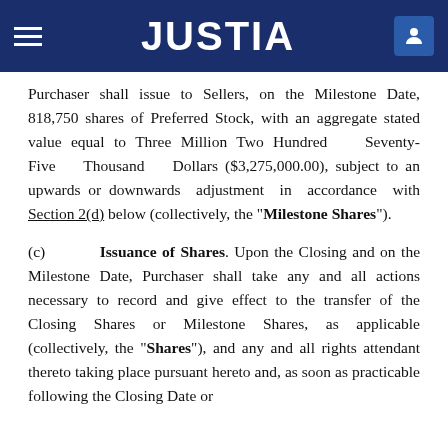JUSTIA
Purchaser shall issue to Sellers, on the Milestone Date, 818,750 shares of Preferred Stock, with an aggregate stated value equal to Three Million Two Hundred Seventy-Five Thousand Dollars ($3,275,000.00), subject to an upwards or downwards adjustment in accordance with Section 2(d) below (collectively, the "Milestone Shares").
(c) Issuance of Shares. Upon the Closing and on the Milestone Date, Purchaser shall take any and all actions necessary to record and give effect to the transfer of the Closing Shares or Milestone Shares, as applicable (collectively, the "Shares"), and any and all rights attendant thereto taking place pursuant hereto and, as soon as practicable following the Closing Date or